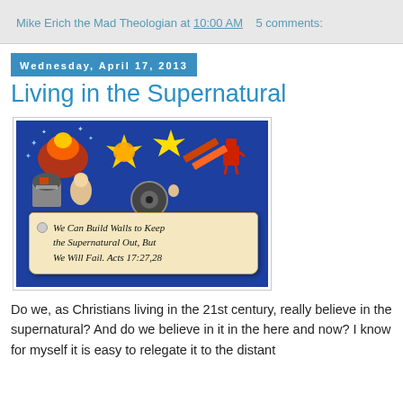Mike Erich the Mad Theologian at 10:00 AM   5 comments:
Wednesday, April 17, 2013
Living in the Supernatural
[Figure (illustration): Blue background graphic with various clipart icons (supernatural themed) and a scroll banner reading: We Can Build Walls to Keep the Supernatural Out, But We Will Fail. Acts 17:27,28]
Do we, as Christians living in the 21st century, really believe in the supernatural? And do we believe in it in the here and now? I know for myself it is easy to relegate it to the distant